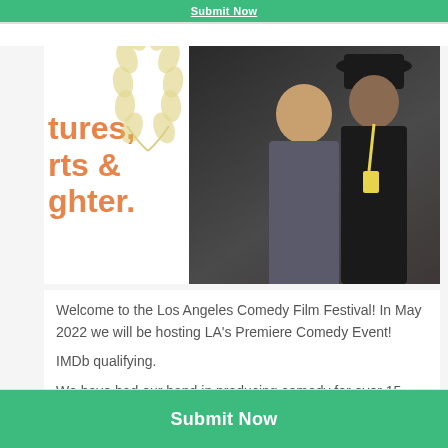Submit Now
[Figure (photo): Three-panel image strip: left panel shows partial orange bold text 'tures, rts & ghter.' with a gold laurel wreath graphic; center panel shows a man in black hat and woman smiling at a film festival event; right panel shows three people posing in front of a Chicago Comedy Film Festival banner]
Welcome to the Los Angeles Comedy Film Festival! In May 2022 we will be hosting LA's Premiere Comedy Event!
IMDb qualifying.
We have had our hand in producing comedy for over 15 years and this is not our first rodeo. In 2010 we began the Chicago Comedy Film Festival. After 9 years successfully running in Chicago we are expanding based on feedback
Submit Now